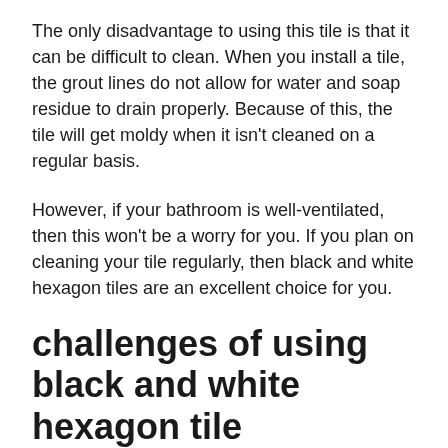The only disadvantage to using this tile is that it can be difficult to clean. When you install a tile, the grout lines do not allow for water and soap residue to drain properly. Because of this, the tile will get moldy when it isn't cleaned on a regular basis.
However, if your bathroom is well-ventilated, then this won't be a worry for you. If you plan on cleaning your tile regularly, then black and white hexagon tiles are an excellent choice for you.
challenges of using black and white hexagon tile
Though this tile is simple, it's not always